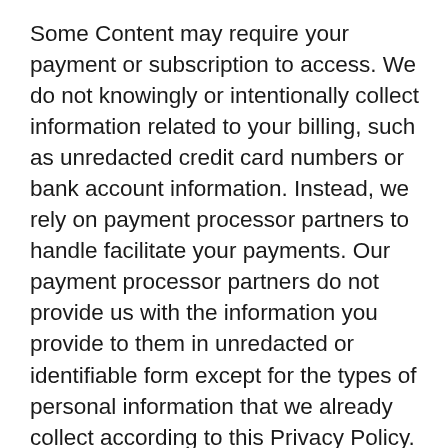Some Content may require your payment or subscription to access. We do not knowingly or intentionally collect information related to your billing, such as unredacted credit card numbers or bank account information. Instead, we rely on payment processor partners to handle facilitate your payments. Our payment processor partners do not provide us with the information you provide to them in unredacted or identifiable form except for the types of personal information that we already collect according to this Privacy Policy. Any information you provide to a payment processor partner is outside of